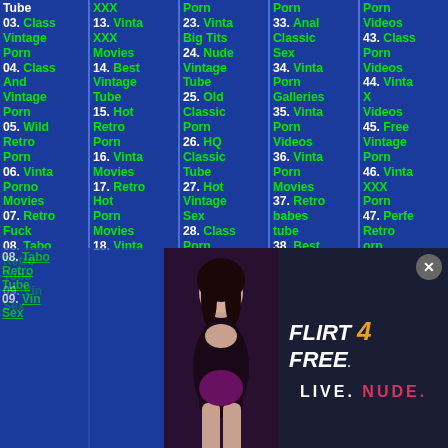03. Classic Vintage Porn
04. Classic And Vintage Porn
05. Wild Retro Porn
06. Vinta Porno Movies
07. Retro Fuck
08. Tabo Retro Tube
09. Vint Sex
13. Vinta XXX Movies
14. Best Vintage Tube
15. Hot Retro Porn
16. Vinta Movies
17. Retro Hot Porn Movies
18. Vinta
23. Vinta Big Tits
24. Nude Vintage Tube
25. Old Classic Porn
26. HQ Classic Tube
27. Hot Vintage Sex
28. Class Porn
29. Retro
33. Anal Classic Sex
34. Vinta Porn Galleries
35. Vinta Porn Videos
36. Vinta Porn Movies
37. Retro babes tube
38. Best Retro Porn
39. Hot
Videos
43. Class Porn Videos
44. Vinta X Videos
45. Free Vintage Porn
46. Vinta XXX Porn
47. Perfe Retro
48. Best Retro Porn
49. Hot
[Figure (screenshot): Advertisement overlay for Flirt4Free with 'LIVE. NUDE.' tagline and a woman photo]